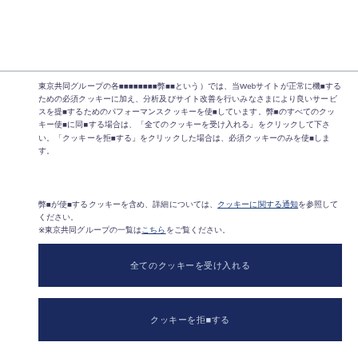東京共同グループの各■■■■■■■■弊■■という）では、当Webサイトが正常に機■するための必須クッキーに加え、分析及びサイト改善を行いみなさまにより良いサービスを提■するためのパフォーマンスクッキーを使■しています。弊■のすべてのクッキー使■に同■する場合は、「全てのクッキーを受け入れる」をクリックして下さい。「クッキーを拒■する」をクリックした場合は、必須クッキーのみを使■します。
弊■が使■するクッキーを含め、詳細については、クッキーに関する通知を参照してください。
※東京共同グループの一覧はこちらをご覧ください。
全てのクッキーを受け入れる
クッキーを拒■する